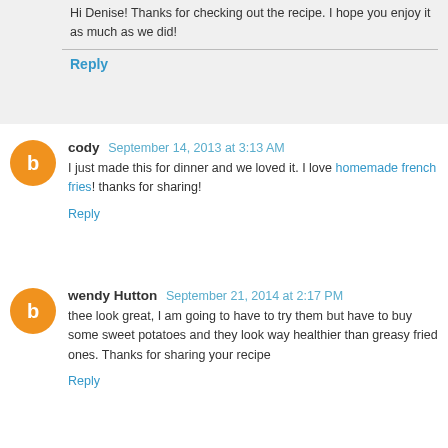Hi Denise! Thanks for checking out the recipe. I hope you enjoy it as much as we did!
Reply
cody  September 14, 2013 at 3:13 AM
I just made this for dinner and we loved it. I love homemade french fries! thanks for sharing!
Reply
wendy Hutton  September 21, 2014 at 2:17 PM
thee look great, I am going to have to try them but have to buy some sweet potatoes and they look way healthier than greasy fried ones. Thanks for sharing your recipe
Reply